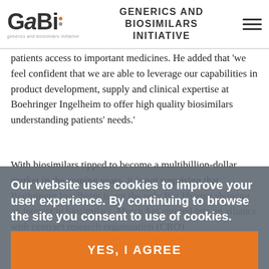GaBi — GENERICS AND BIOSIMILARS INITIATIVE
patients access to important medicines. He added that 'we feel confident that we are able to leverage our capabilities in product development, supply and clinical expertise at Boehringer Ingelheim to offer high quality biosimilars understanding patients' needs.'
With biosimilars tipped to become a multibillion-dollar market in the coming years, it is not surprising that Boehringer Ingelheim is not the only Big Pharma showing an interest in biosimilars. Merck has entered into an alliance with contract research organisation (CRO)... to Merck BioVentures [1]. Actavis and Bioton announced an agreement in commercialisation of Biocon's biosimilar insulin and
Our website uses cookies to improve your user experience. By continuing to browse the site you consent to use of cookies.
YES, I AGREE